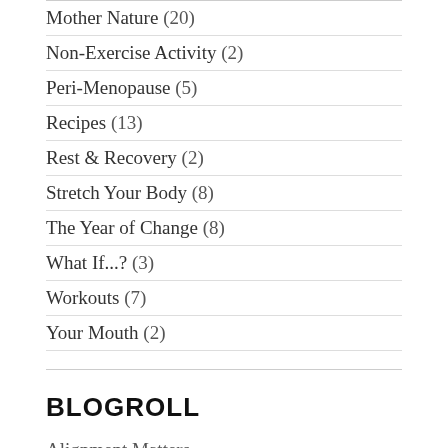Mother Nature (20)
Non-Exercise Activity (2)
Peri-Menopause (5)
Recipes (13)
Rest & Recovery (2)
Stretch Your Body (8)
The Year of Change (8)
What If...? (3)
Workouts (7)
Your Mouth (2)
BLOGROLL
Alignment Matters